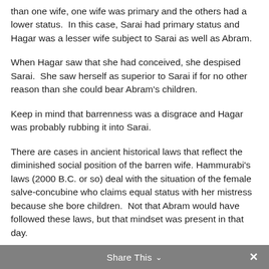than one wife, one wife was primary and the others had a lower status.  In this case, Sarai had primary status and Hagar was a lesser wife subject to Sarai as well as Abram.
When Hagar saw that she had conceived, she despised Sarai.  She saw herself as superior to Sarai if for no other reason than she could bear Abram's children.
Keep in mind that barrenness was a disgrace and Hagar was probably rubbing it into Sarai.
There are cases in ancient historical laws that reflect the diminished social position of the barren wife. Hammurabi's laws (2000 B.C. or so) deal with the situation of the female salve-concubine who claims equal status with her mistress because she bore children.  Not that Abram would have followed these laws, but that mindset was present in that day.
Share This ∨  ✕